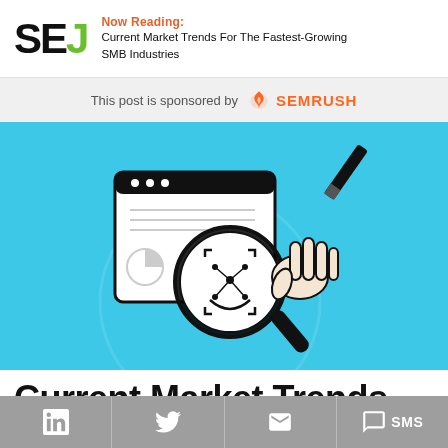Now Reading: Current Market Trends For The Fastest-Growing SMB Industries
This post is sponsored by SEMRUSH
[Figure (illustration): Illustration on a light blue background showing a hand holding a magnifying glass over a browser/document interface with a face-recognition/targeting reticle, and a pencil/rocket in the upper right corner.]
Current Market Trends For The Fastest-Growing SMB
in | (twitter bird) | (email) | SMS